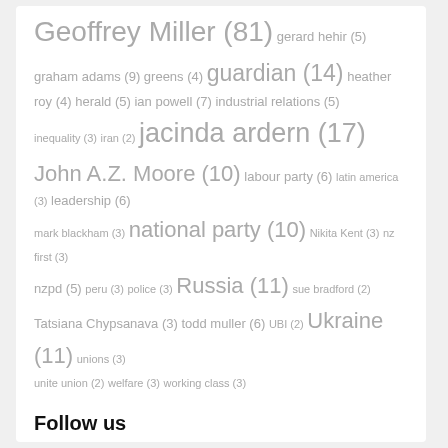Geoffrey Miller (81) gerard hehir (5) graham adams (9) greens (4) guardian (14) heather roy (4) herald (5) ian powell (7) industrial relations (5) inequality (3) iran (2) jacinda ardern (17) John A.Z. Moore (10) labour party (6) latin america (3) leadership (6) mark blackham (3) national party (10) Nikita Kent (3) nz first (3) nzpd (5) peru (3) police (3) Russia (11) sue bradford (2) Tatsiana Chypsanava (3) todd muller (6) UBI (2) Ukraine (11) unions (3) unite union (2) welfare (3) working class (3)
Follow us
[Figure (other): Facebook and Twitter social media icons (circular buttons)]
About the Democracy Project
The Democracy Project promotes critical thinking, debate, and engagement on politics. This site is hosted by